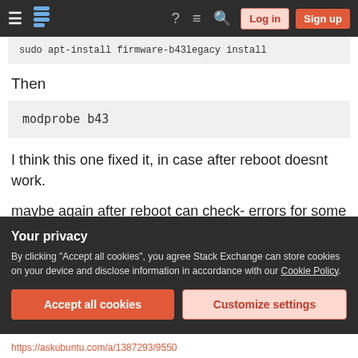Stack Exchange navigation bar with Log in and Sign up buttons
sudo apt-install firmware-b43legacy install
Then
modprobe b43
I think this one fixed it, in case after reboot doesnt work.
maybe again after reboot can check- errors for some other drivers showing, but your driver will be
Your privacy
By clicking "Accept all cookies", you agree Stack Exchange can store cookies on your device and disclose information in accordance with our Cookie Policy.
Accept all cookies   Customize settings
https://askubuntu.com/a/1387293/9550